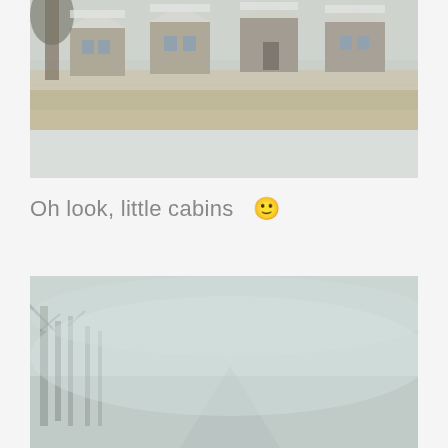[Figure (photo): Winter scene showing a row of small snow-covered cabins in the background with dry grass and snow covering the ground in the foreground. Overcast grey sky. Photo taken through a window.]
Oh look, little cabins  🙂
[Figure (photo): Blizzard or heavy snowstorm scene showing a foggy road or landscape with bare trees visible on the left side through the snow and mist. Very low visibility conditions.]